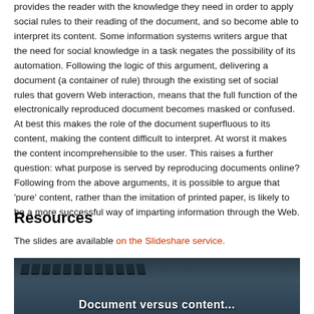provides the reader with the knowledge they need in order to apply social rules to their reading of the document, and so become able to interpret its content. Some information systems writers argue that the need for social knowledge in a task negates the possibility of its automation. Following the logic of this argument, delivering a document (a container of rule) through the existing set of social rules that govern Web interaction, means that the full function of the electronically reproduced document becomes masked or confused. At best this makes the role of the document superfluous to its content, making the content difficult to interpret. At worst it makes the content incomprehensible to the user. This raises a further question: what purpose is served by reproducing documents online? Following from the above arguments, it is possible to argue that 'pure' content, rather than the imitation of printed paper, is likely to be a more successful way of imparting information through the Web.
Resources
The slides are available on the Slideshare service.
[Figure (photo): Dark teal/blue image showing keyboard keys in the foreground with text overlay reading 'Document versus content' or similar title at the bottom in white bold text]